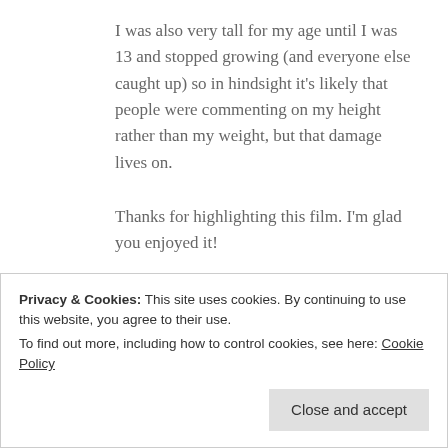I was also very tall for my age until I was 13 and stopped growing (and everyone else caught up) so in hindsight it’s likely that people were commenting on my height rather than my weight, but that damage lives on.
Thanks for highlighting this film. I’m glad you enjoyed it!
★ Liked by 2 people
Privacy & Cookies: This site uses cookies. By continuing to use this website, you agree to their use.
To find out more, including how to control cookies, see here: Cookie Policy
Close and accept